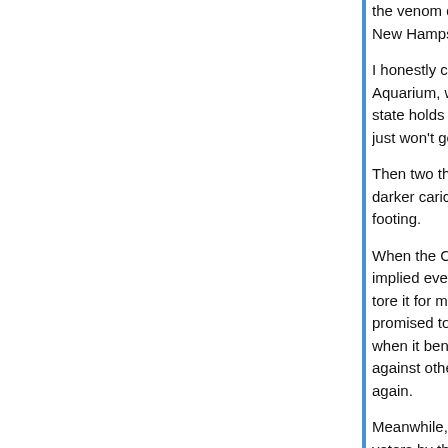the venom directed at Hillary after Iowa, and there New Hampshire.
I honestly couldn't make up my mind which to Aquarium, which I adore, and my shift on Saturda state holds its caucus. So I figured: what the heck just won't go.
Then two things happened: the Clintons seemed darker caricatures at the same time Obama seem footing.
When the Clintons and their surrogates said nasty implied even nastier things, I thought: Well, that s tore it for me was the horse hockey Hillary's camp promised to pull in Michigan and Florida. It seems when it benefits Hillary Clinton. Like I said at the t against other politicians is one thing; dirty pool ag again.
Meanwhile, there was Obama bringing in waves o voters by the tens of thousands, setting alight eve I think, kindled in turn by them. He's become not someone who can potentially reframe America's p something we can be proud of.